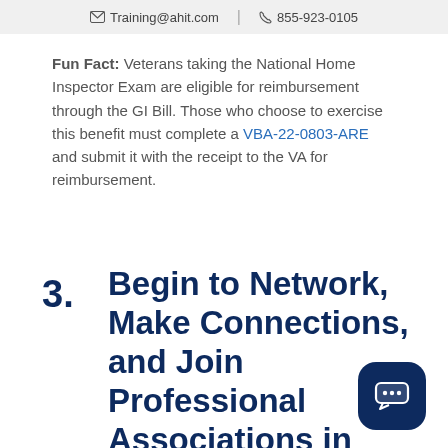Training@ahit.com | 855-923-0105
Fun Fact: Veterans taking the National Home Inspector Exam are eligible for reimbursement through the GI Bill. Those who choose to exercise this benefit must complete a VBA-22-0803-ARE and submit it with the receipt to the VA for reimbursement.
3. Begin to Network, Make Connections, and Join Professional Associations in Colorado